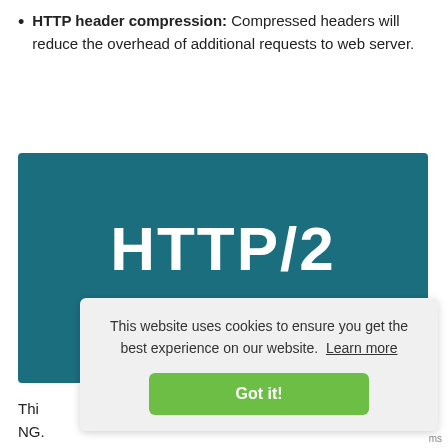HTTP header compression: Compressed headers will reduce the overhead of additional requests to web server.
[Figure (screenshot): HTTP/2 promotional graphic with teal background showing 'HTTP/2' in large bold white text and 'Fast & Secure Internet' subtitle, overlaid with a cookie consent banner popup reading 'This website uses cookies to ensure you get the best experience on our website. Learn more' with a green 'Got it!' button.]
Thi... NG...